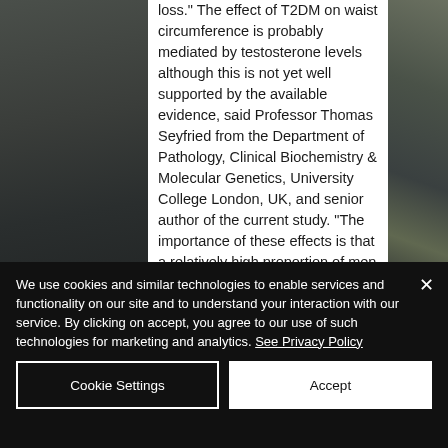[Figure (photo): Background photo on left and right sides of article text panel, showing dark outdoor scene with plants and objects]
loss." The effect of T2DM on waist circumference is probably mediated by testosterone levels although this is not yet well supported by the available evidence, said Professor Thomas Seyfried from the Department of Pathology, Clinical Biochemistry & Molecular Genetics, University College London, UK, and senior author of the current study. "The importance of these effects is that a relatively high proportion of men with
We use cookies and similar technologies to enable services and functionality on our site and to understand your interaction with our service. By clicking on accept, you agree to our use of such technologies for marketing and analytics. See Privacy Policy